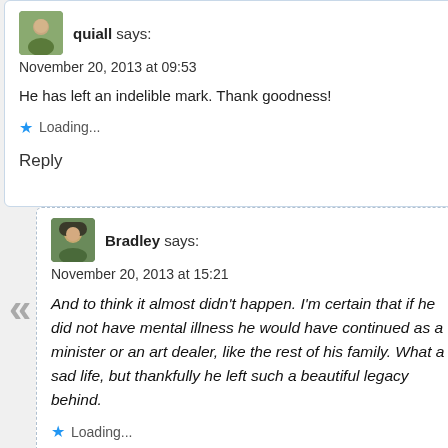quiall says:
November 20, 2013 at 09:53
He has left an indelible mark. Thank goodness!
Loading...
Reply
Bradley says:
November 20, 2013 at 15:21
And to think it almost didn't happen. I'm certain that if he did not have mental illness he would have continued as a minister or an art dealer, like the rest of his family. What a sad life, but thankfully he left such a beautiful legacy behind.
Loading...